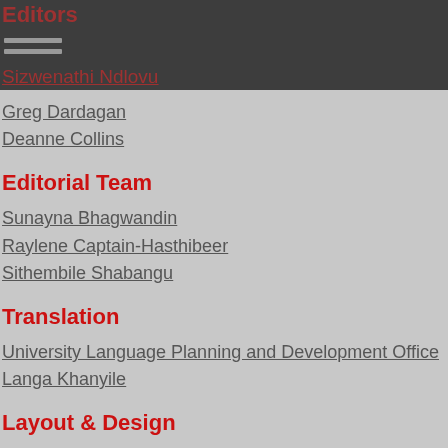Editors
Sizwenathi Ndlovu
Greg Dardagan
Deanne Collins
Editorial Team
Sunayna Bhagwandin
Raylene Captain-Hasthibeer
Sithembile Shabangu
Translation
University Language Planning and Development Office
Langa Khanyile
Layout & Design
Leanne Govender
Bharat Ramkissoon
Enquiries